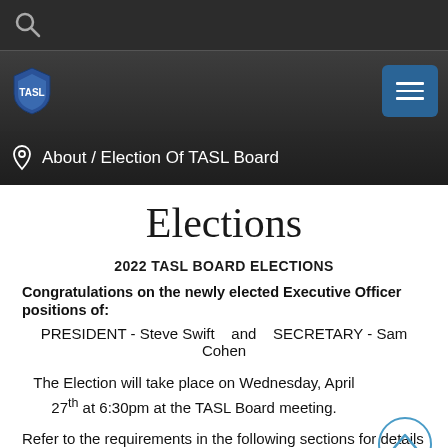Search icon / top navigation bar
[Figure (logo): TASL shield logo on dark navigation bar with blue menu button]
About / Election Of TASL Board
Elections
2022 TASL BOARD ELECTIONS
Congratulations on the newly elected Executive Officer positions of:
PRESIDENT - Steve Swift    and    SECRETARY - Sam Cohen
The Election will take place on Wednesday, April 27th at 6:30pm at the TASL Board meeting.
Refer to the requirements in the following sections for details on the